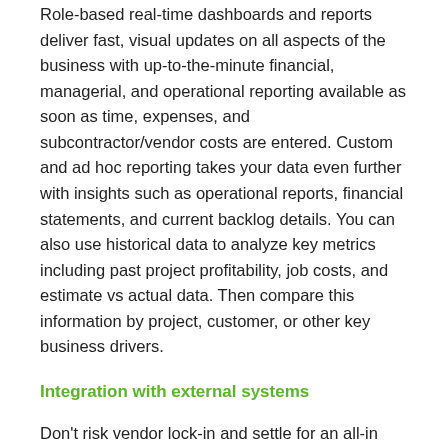Role-based real-time dashboards and reports deliver fast, visual updates on all aspects of the business with up-to-the-minute financial, managerial, and operational reporting available as soon as time, expenses, and subcontractor/vendor costs are entered. Custom and ad hoc reporting takes your data even further with insights such as operational reports, financial statements, and current backlog details. You can also use historical data to analyze key metrics including past project profitability, job costs, and estimate vs actual data. Then compare this information by project, customer, or other key business drivers.
Integration with external systems
Don't risk vendor lock-in and settle for an all-in